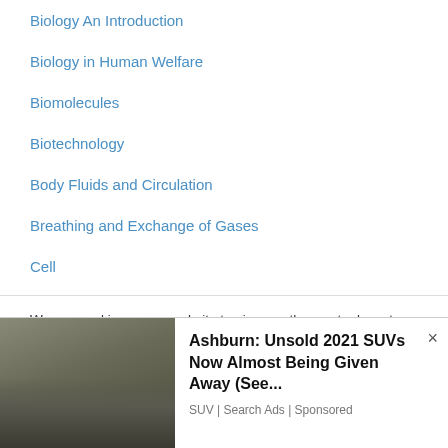Biology An Introduction
Biology in Human Welfare
Biomolecules
Biotechnology
Body Fluids and Circulation
Breathing and Exchange of Gases
Cell
Cell- Structure and Function
We use cookies on our website to give you the most relevant experience by remembering your preferences and repeat visits. By clicking “Accept”, you consent to the use of ALL the cookies.
Do not sell my personal information.
[Figure (infographic): Advertisement banner showing a Land Rover SUV car with text 'Ashburn: Unsold 2021 SUVs Now Almost Being Given Away (See...' and source 'SUV | Search Ads | Sponsored']